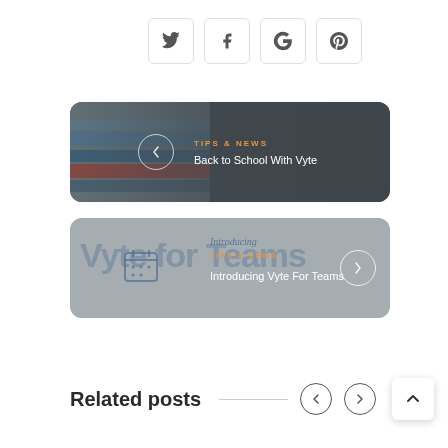[Figure (other): Social sharing buttons for Twitter, Facebook, Google, and Pinterest]
[Figure (other): Navigation card: TIPS & NEWS category label in orange, title 'Back to School With Vyte', left arrow circle button, dark background with colored pencils image]
[Figure (other): Navigation card: 'Introducing' italic text, TIPS & NEWS category label in orange, title 'Introducing Vyte For Teams', right arrow circle button, gray background with Vyte for Teams branding]
Related posts
[Figure (other): Navigation arrows (left and right) and scroll-to-top button]